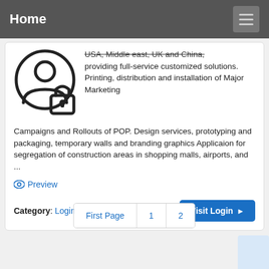Home
[Figure (illustration): User profile icon with a padlock overlay, indicating a locked/private account]
USA, Middle east, UK and China, providing full-service customized solutions. Printing, distribution and installation of Major Marketing Campaigns and Rollouts of POP. Design services, prototyping and packaging, temporary walls and branding graphics Applicaion for segregation of construction areas in shopping malls, airports, and ...
Preview
Category: Login Help
Visit Login